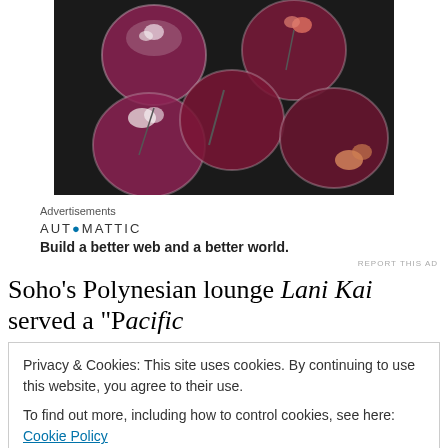[Figure (photo): Overhead view of multiple cocktail glasses with pink/red drinks garnished with flowers and ice, on a dark background]
Advertisements
[Figure (logo): Automattic logo with tagline: Build a better web and a better world.]
REPORT THIS AD
Soho's Polynesian lounge Lani Kai served a "Pacific
Privacy & Cookies: This site uses cookies. By continuing to use this website, you agree to their use.
To find out more, including how to control cookies, see here: Cookie Policy
[Close and accept]
enchanting drink made with a sugar cube, bitters and